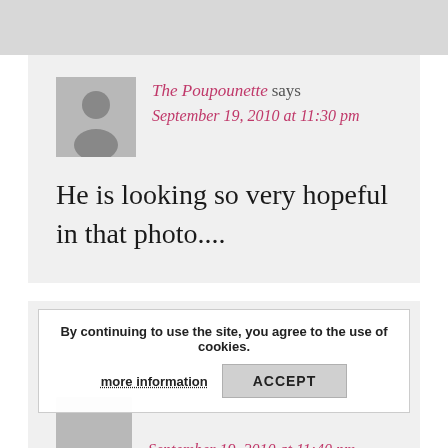The Poupounette says
September 19, 2010 at 11:30 pm
He is looking so very hopeful in that photo....
By continuing to use the site, you agree to the use of cookies.
more information
ACCEPT
September 19, 2010 at 11:40 pm